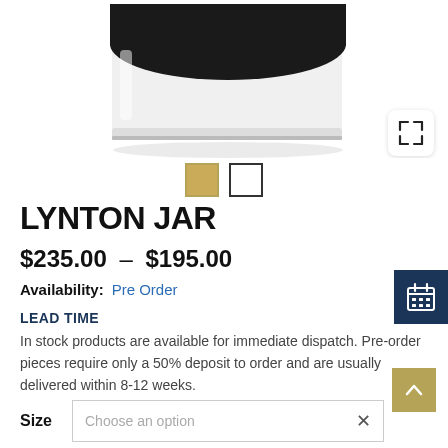[Figure (photo): Product photo of Lynton Jar — a white ceramic jar with dark lid, shown cropped from middle upward, bottom portion visible]
LYNTON JAR
$235.00  –  $195.00
Availability:   Pre Order
LEAD TIME
In stock products are available for immediate dispatch. Pre-order pieces require only a 50% deposit to order and are usually delivered within 8-12 weeks.
Size   Choose an option